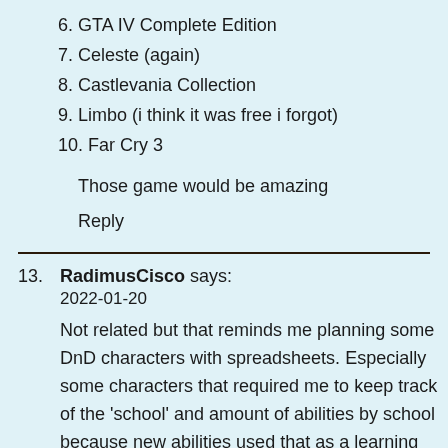6. GTA IV Complete Edition
7. Celeste (again)
8. Castlevania Collection
9. Limbo (i think it was free i forgot)
10. Far Cry 3
Those game would be amazing
Reply
13. RadimusCisco says:
2022-01-20
Not related but that reminds me planning some DnD characters with spreadsheets. Especially some characters that required me to keep track of the 'school' and amount of abilities by school because new abilities used that as a learning requirement and they could be replaced from